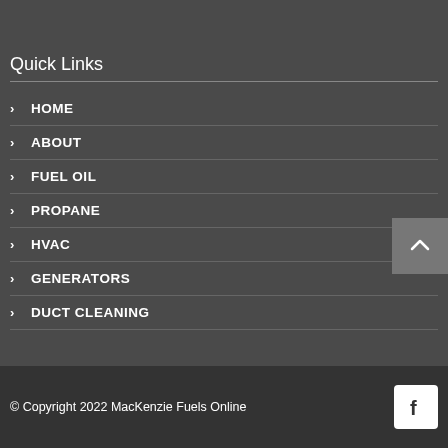Quick Links
HOME
ABOUT
FUEL OIL
PROPANE
HVAC
GENERATORS
DUCT CLEANING
© Copyright 2022 MacKenzie Fuels Online